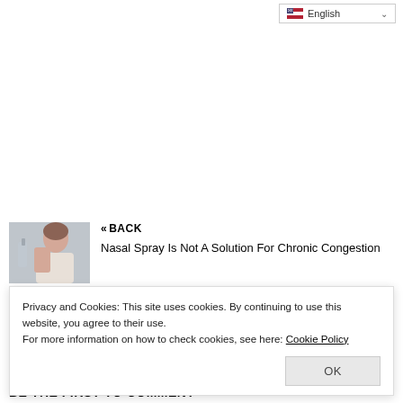[Figure (screenshot): Language selector dropdown showing English with flag icon and chevron]
[Figure (photo): Woman using a nasal spray]
« BACK
Nasal Spray Is Not A Solution For Chronic Congestion
Privacy and Cookies: This site uses cookies. By continuing to use this website, you agree to their use.
For more information on how to check cookies, see here: Cookie Policy
OK
BE THE FIRST TO COMMENT